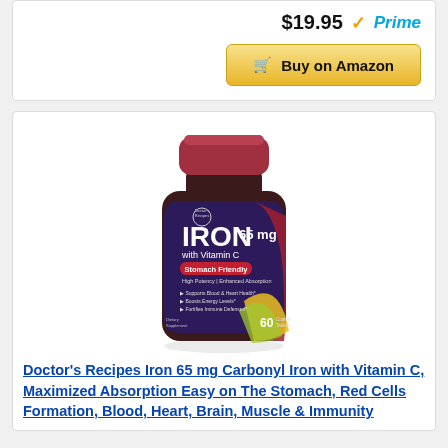$19.95 Prime
Buy on Amazon
[Figure (photo): Doctor's Recipes Iron 65 mg supplement bottle with dark red/maroon bottle, crimson cap, purple and red label showing IRON 65 mg with Vitamin C, Stomach Friendly, 60 coated tablets]
Doctor's Recipes Iron 65 mg Carbonyl Iron with Vitamin C, Maximized Absorption Easy on The Stomach, Red Cells Formation, Blood, Heart, Brain, Muscle & Immunity